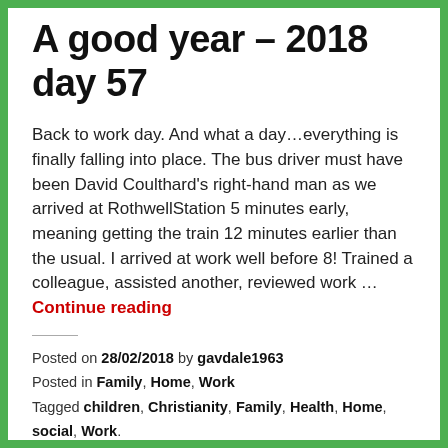A good year – 2018 day 57
Back to work day. And what a day…everything is finally falling into place. The bus driver must have been David Coulthard's right-hand man as we arrived at RothwellStation 5 minutes early, meaning getting the train 12 minutes earlier than the usual. I arrived at work well before 8! Trained a colleague, assisted another, reviewed work … Continue reading
Posted on 28/02/2018 by gavdale1963
Posted in Family, Home, Work
Tagged children, Christianity, Family, Health, Home, social, Work.
Leave a comment